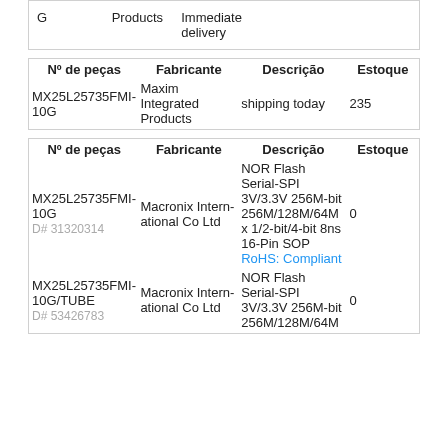| Nº de peças | Fabricante | Descrição | Estoque |
| --- | --- | --- | --- |
| MX25L25735FMI-10G | Products | Immediate delivery |  |
| Nº de peças | Fabricante | Descrição | Estoque |
| --- | --- | --- | --- |
| MX25L25735FMI-10G | Maxim Integrated Products | shipping today | 235 |
| Nº de peças | Fabricante | Descrição | Estoque |
| --- | --- | --- | --- |
| MX25L25735FMI-10G
D# 31320314 | Macronix International Co Ltd | NOR Flash Serial-SPI 3V/3.3V 256M-bit 256M/128M/64M x 1/2-bit/4-bit 8ns 16-Pin SOP
RoHS: Compliant | 0 |
| MX25L25735FMI-10G/TUBE
D# 53426783 | Macronix International Co Ltd | NOR Flash Serial-SPI 3V/3.3V 256M-bit 256M/128M/64M | 0 |